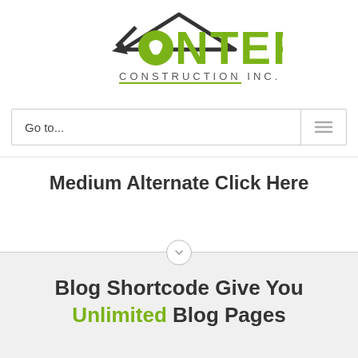[Figure (logo): Onter Construction Inc. logo with green text and house/tooth icon]
Go to...
Medium Alternate Click Here
Blog Shortcode Give You Unlimited Blog Pages